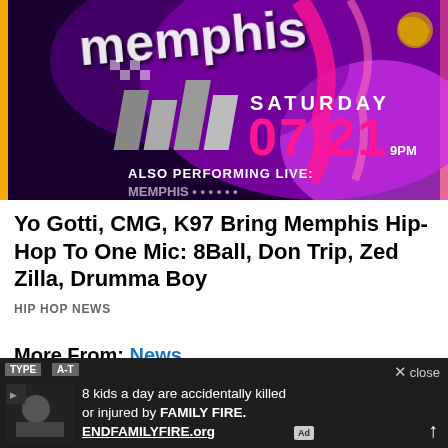[Figure (photo): Concert promotional flyer showing colorful stylized text 'Memphis' with Saturday 07.21 date, 9PM time, and text 'Also Performing Live:' on a vibrant purple/pink/orange background]
Yo Gotti, CMG, K97 Bring Memphis Hip-Hop To One Mic: 8Ball, Don Trip, Zed Zilla, Drumma Boy
HIP HOP NEWS
More From: News
[Figure (screenshot): Advertisement banner: '8 kids a day are accidentally killed or injured by FAMILY FIRE. ENDFAMILYFIRE.org' with Ad badge and close button]